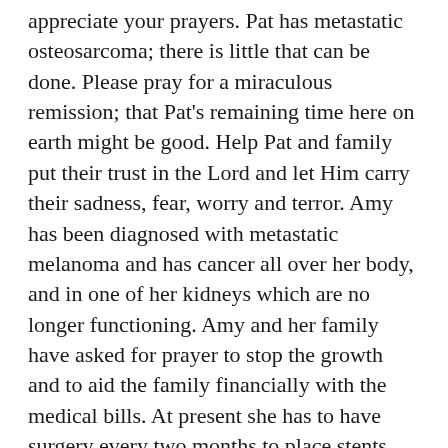appreciate your prayers. Pat has metastatic osteosarcoma; there is little that can be done. Please pray for a miraculous remission; that Pat's remaining time here on earth might be good. Help Pat and family put their trust in the Lord and let Him carry their sadness, fear, worry and terror. Amy has been diagnosed with metastatic melanoma and has cancer all over her body, and in one of her kidneys which are no longer functioning. Amy and her family have asked for prayer to stop the growth and to aid the family financially with the medical bills. At present she has to have surgery every two months to place stents. Pray Jesus will be close to all. Gemma Dillinger has been treating for breast cancer for over a year now, after surgeries, radiation and chemotherapy, she is reaching the limit of her